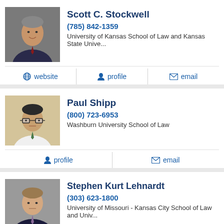[Figure (photo): Headshot of Scott C. Stockwell, man in suit with red tie]
Scott C. Stockwell
(785) 842-1359
University of Kansas School of Law and Kansas State Unive...
website  profile  email
[Figure (photo): Headshot of Paul Shipp, man with glasses]
Paul Shipp
(800) 723-6953
Washburn University School of Law
profile  email
[Figure (photo): Headshot of Stephen Kurt Lehnardt, man in suit]
Stephen Kurt Lehnardt
(303) 623-1800
University of Missouri - Kansas City School of Law and Univ...